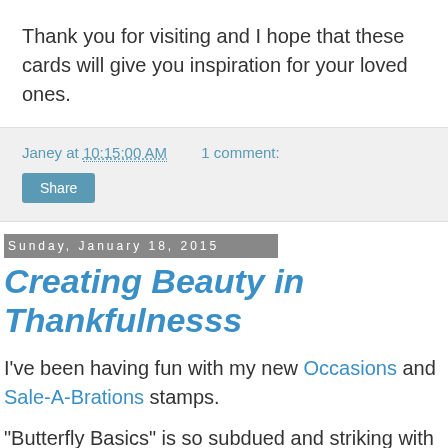Thank you for visiting and I hope that these cards will give you inspiration for your loved ones.
Janey at 10:15:00 AM    1 comment:
Share
Sunday, January 18, 2015
Creating Beauty in Thankfulnesss
I've been having fun with my new Occasions and Sale-A-Brations stamps.
"Butterfly Basics" is so subdued and striking with a tea lace doilie and the note tag punch stamped with "You Brighton My Day" stamps in the Sale-A-Brations